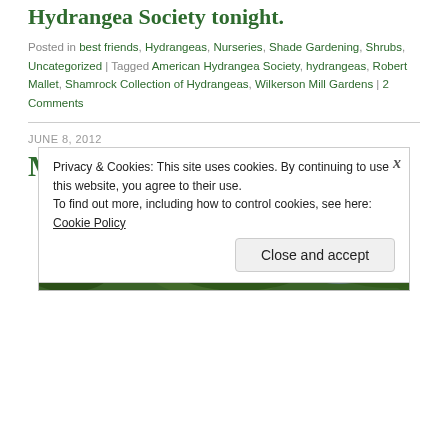Hydrangea Society tonight.
Posted in best friends, Hydrangeas, Nurseries, Shade Gardening, Shrubs, Uncategorized | Tagged American Hydrangea Society, hydrangeas, Robert Mallet, Shamrock Collection of Hydrangeas, Wilkerson Mill Gardens | 2 Comments
JUNE 8, 2012
MORE HYDRANGEAS
[Figure (photo): A hydrangea plant with large green leaves and a blue/purple flower bloom, photographed outdoors in a garden setting.]
Privacy & Cookies: This site uses cookies. By continuing to use this website, you agree to their use.
To find out more, including how to control cookies, see here: Cookie Policy
Close and accept